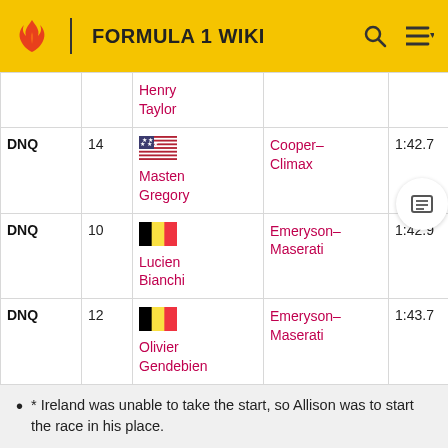FORMULA 1 WIKI
| Pos | No | Driver | Car | Time | Gap |
| --- | --- | --- | --- | --- | --- |
|  |  | Henry Taylor |  |  |  |
| DNQ | 14 | 🇺🇸 Masten Gregory | Cooper-Climax | 1:42.7 | + |
| DNQ | 10 | 🇧🇪 Lucien Bianchi | Emeryson-Maserati | 1:42.9 | +3.8 |
| DNQ | 12 | 🇧🇪 Olivier Gendebien | Emeryson-Maserati | 1:43.7 | +4.6 |
* Ireland was unable to take the start, so Allison was to start the race in his place.
† Brabham automatically qualified so would start